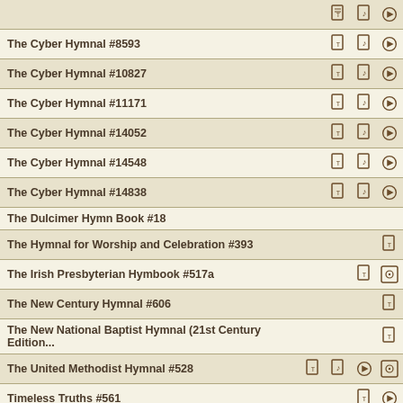| Hymnal | Icons |
| --- | --- |
| The Cyber Hymnal #8593 | [icons] |
| The Cyber Hymnal #10827 | [icons] |
| The Cyber Hymnal #11171 | [icons] |
| The Cyber Hymnal #14052 | [icons] |
| The Cyber Hymnal #14548 | [icons] |
| The Cyber Hymnal #14838 | [icons] |
| The Dulcimer Hymn Book #18 |  |
| The Hymnal for Worship and Celebration #393 | [icon] |
| The Irish Presbyterian Hymbook #517a | [icons] |
| The New Century Hymnal #606 | [icon] |
| The New National Baptist Hymnal (21st Century Edition... | [icon] |
| The United Methodist Hymnal #528 | [icons] |
| Timeless Truths #561 | [icons] |
| Tsese-Ma'heone-Nemeotótse (Cheyenne Spiritual Songs) #... |  |
| TTT-Himnaro Cigneta #96a | Contents |
| Voices Together #358... |  |